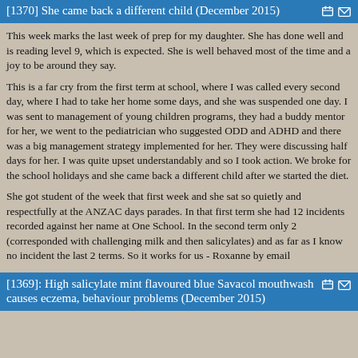[1370]  She came back a different child  (December 2015)
This week marks the last week of prep for my daughter.  She has done well and is  reading level 9, which is expected. She is well behaved most of the time and a joy to be around  they say.
This is a far cry from the first term at school, where I was called every second day, where I had to take her home some days, and she was suspended one day.  I was sent to management of young children programs, they had a buddy mentor for her, we went to the pediatrician who suggested ODD and ADHD and there was a big management strategy implemented for her.  They were discussing half days for her. I was quite upset understandably and so I took action.  We broke for the school holidays and she came back a different child after we started the diet.
She got student of the week that first week and she sat so quietly and respectfully at the ANZAC days parades.  In that first term she had 12 incidents recorded against her name at One School.  In the second term only 2 (corresponded with challenging milk and then salicylates) and as far as I know no incident the last 2 terms. So it works for us - Roxanne by email
[1369]: High salicylate mint flavoured blue Savacol mouthwash causes eczema, behaviour problems (December 2015)